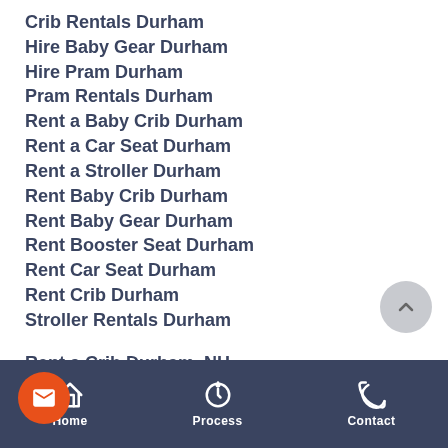Crib Rentals Durham
Hire Baby Gear Durham
Hire Pram Durham
Pram Rentals Durham
Rent a Baby Crib Durham
Rent a Car Seat Durham
Rent a Stroller Durham
Rent Baby Crib Durham
Rent Baby Gear Durham
Rent Booster Seat Durham
Rent Car Seat Durham
Rent Crib Durham
Stroller Rentals Durham
Rent a Crib Durham, NH
Baby Crib Rentals Durham, NH
Baby Equipment Rental Durham, NH
Home | Process | Contact